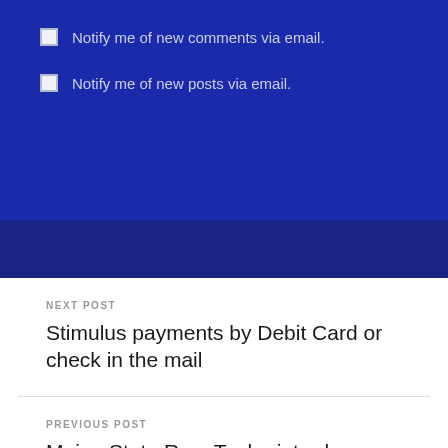Notify me of new comments via email.
Notify me of new posts via email.
NEXT POST
Stimulus payments by Debit Card or check in the mail
PREVIOUS POST
Maine State Rep. Tepler introduces bill to improve transparency in drug pricing